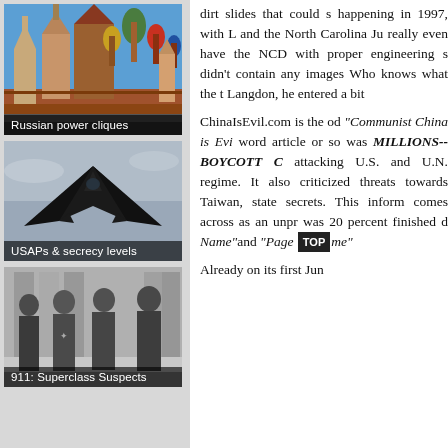[Figure (photo): Photo of Russian architecture - Red Square with Kremlin towers and Saint Basil's Cathedral]
Russian power cliques
[Figure (photo): Photo of a stealth aircraft (F-117 Nighthawk) in flight against grey sky]
USAPs & secrecy levels
[Figure (photo): Black and white photo of several men in suits and military uniforms]
911: Superclass Suspects
dirt slides that could s happening in 1997, with L and the North Carolina Ju really even have the NCD with proper engineering s didn't contain any images Who knows what the t Langdon, he entered a bit
ChinaIsEvil.com is the od "Communist China is Evi word article or so was MILLIONS-- BOYCOTT C attacking U.S. and U.N. regime. It also criticized threats towards Taiwan, state secrets. This inform comes across as an unpr was 20 percent finished d Name" and "Page [TOP] me"
Already on its first Jun